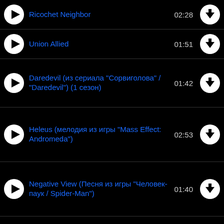Ricochet Neighbor 02:28
Union Allied 01:51
Daredevil (из сериала "Сорвиголова" / "Daredevil") (1 сезон) 01:42
Heleus (мелодия из игры "Mass Effect: Andromeda") 02:53
Negative View (Песня из игры "Человек-паук / Spider-Man") 01:40
Good Luck Greenie (Песня из фильма... 02:03